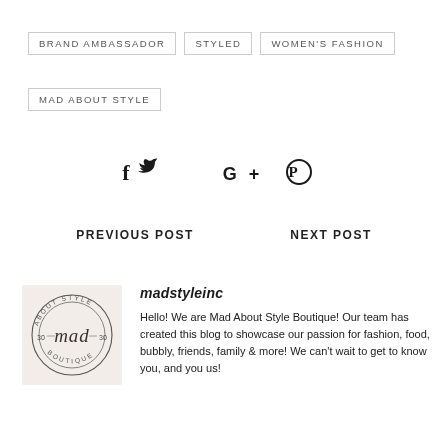BRAND AMBASSADOR
STYLED
WOMEN'S FASHION
MAD ABOUT STYLE
[Figure (other): Social media share icons: Facebook, Twitter, Google+, Pinterest]
PREVIOUS POST
NEXT POST
[Figure (logo): Mad About Style Boutique circular logo with script text 'mad' in center and 'About Style Boutique' around the ring]
madstyleinc
Hello! We are Mad About Style Boutique! Our team has created this blog to showcase our passion for fashion, food, bubbly, friends, family & more! We can't wait to get to know you, and you us!